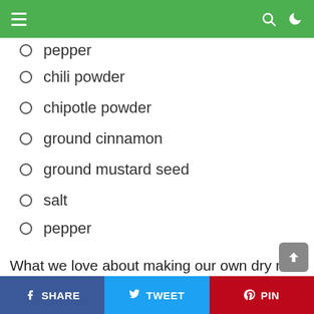Navigation bar with hamburger menu, search icon, and dark mode toggle
pepper (partial, cut off at top)
chili powder
chipotle powder
ground cinnamon
ground mustard seed
salt
pepper
What we love about making our own dry rub at home is that there are no additives! You can also monitor the amount of salt, spice, and sweetness your rub has, which is great for so many reasons. One thing I recommend with this rub is making a double or triple batch (text cut off)
SHARE | TWEET | PIN